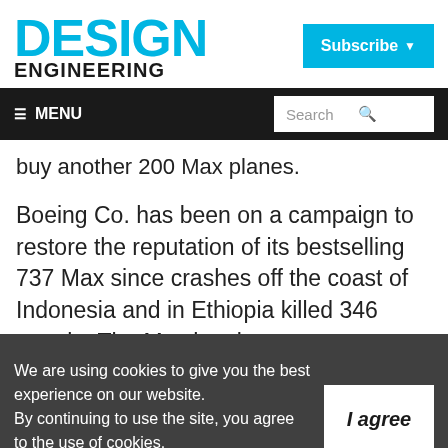[Figure (logo): Design Engineering magazine logo — 'DESIGN' in large cyan/blue text, 'ENGINEERING' in bold black below]
[Figure (screenshot): Subscribe button — cyan background with white bold text 'Subscribe' and dropdown arrow]
≡ MENU | Search
buy another 200 Max planes.
Boeing Co. has been on a campaign to restore the reputation of its bestselling 737 Max since crashes off the coast of Indonesia and in Ethiopia killed 346 people. The Max has been
We are using cookies to give you the best experience on our website.
By continuing to use the site, you agree to the use of cookies.
To find out more, read our privacy policy.